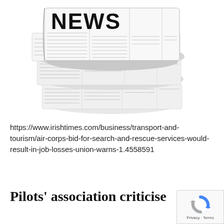[Figure (illustration): Stack of folded newspapers with headline 'NEWS' on top, sections labeled 'Top News', 'World News', 'Business', 'Money', 'Sport', 'More Topics']
https://www.irishtimes.com/business/transport-and-tourism/air-corps-bid-for-search-and-rescue-services-would-result-in-job-losses-union-warns-1.4558591
Pilots' association criticise